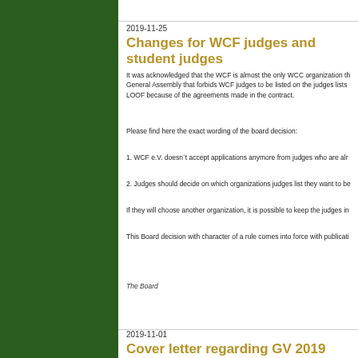2019-11-25
Changes for WCF judges and student judges
It was acknowledged that the WCF is almost the only WCC organization that has a General Assembly that forbids WCF judges to be listed on the judges lists of e.g. LOOF because of the agreements made in the contract.
Please find here the exact wording of the board decision:
1. WCF e.V. doesn`t accept applications anymore from judges who are already listed...
2. Judges should decide on which organizations judges list they want to be...
If they will choose another organization, it is possible to keep the judges in...
This Board decision with character of a rule comes into force with publication...
The Board
2019-11-01
Cover letter regarding GV 2019